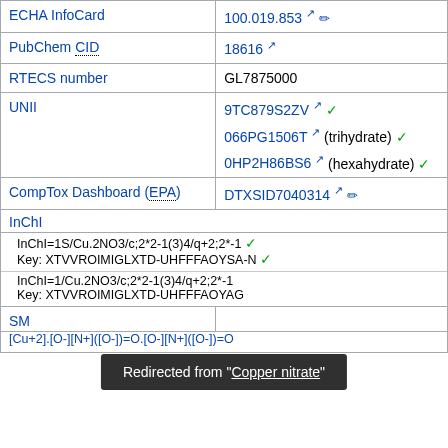| ECHA InfoCard | 100.019.853 ↗ ✏ |
| PubChem CID | 18616 ↗ |
| RTECS number | GL7875000 |
| UNII | 9TC879S2ZV ↗ ✓
066PG1506T ↗ (trihydrate) ✓
0HP2H86BS6 ↗ (hexahydrate) ✓ |
| CompTox Dashboard (EPA) | DTXSID7040314 ↗ ✏ |
| InChI | InChI=1S/Cu.2NO3/c;2*2-1(3)4/q+2;2*-1 ✓
Key: XTVVROIMIGLXTD-UHFFFAOYSA-N ✓
InChI=1/Cu.2NO3/c;2*2-1(3)4/q+2;2*-1
Key: XTVVROIMIGLXTD-UHFFFAOYAG |
| SMILES | [Cu+2].[O-][N+]([O-])=O.[O-][N+]([O-])=O |